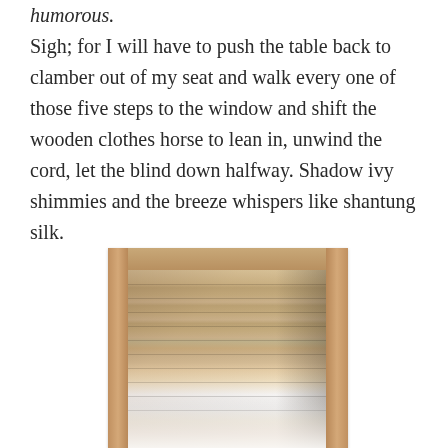humorous. Sigh; for I will have to push the table back to clamber out of my seat and walk every one of those five steps to the window and shift the wooden clothes horse to lean in, unwind the cord, let the blind down halfway. Shadow ivy shimmies and the breeze whispers like shantung silk.
[Figure (photo): A photograph of a window with a wooden frame and a partially drawn venetian or roller blind. Light filters through the blind creating horizontal shadow stripes. There appears to be shadow of ivy or plant on the blind. Bright light comes from the bottom of the window.]